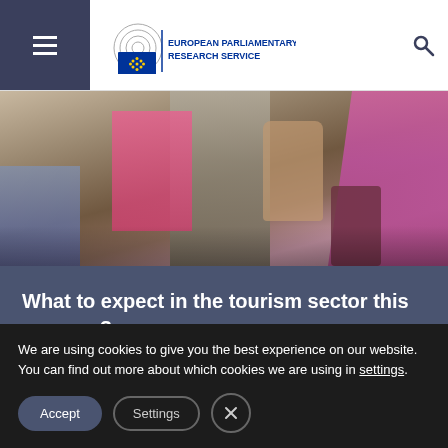European Parliamentary Research Service
[Figure (photo): Crowd of tourists/travelers with luggage, viewed from behind, wearing colorful clothing]
What to expect in the tourism sector this summer?
[Figure (photo): Partial view of a person with reddish hair against a warm golden-brown background]
We are using cookies to give you the best experience on our website.
You can find out more about which cookies we are using in settings.